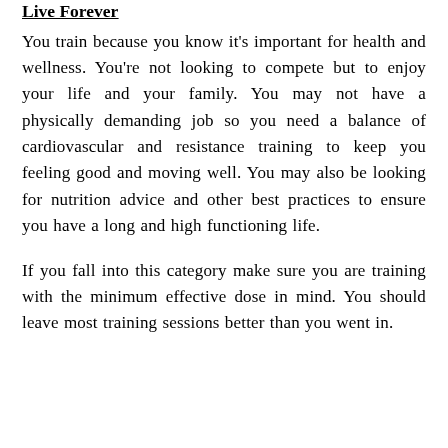Live Forever
You train because you know it's important for health and wellness. You're not looking to compete but to enjoy your life and your family. You may not have a physically demanding job so you need a balance of cardiovascular and resistance training to keep you feeling good and moving well. You may also be looking for nutrition advice and other best practices to ensure you have a long and high functioning life.
If you fall into this category make sure you are training with the minimum effective dose in mind. You should leave most training sessions better than you went in.